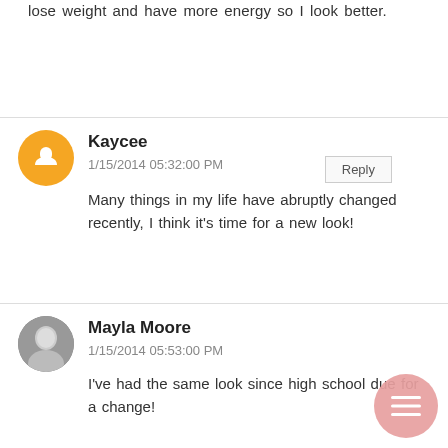lose weight and have more energy so I look better.
Reply
Kaycee
1/15/2014 05:32:00 PM
Many things in my life have abruptly changed recently, I think it's time for a new look!
Reply
Mayla Moore
1/15/2014 05:53:00 PM
I've had the same look since high school due for a change!